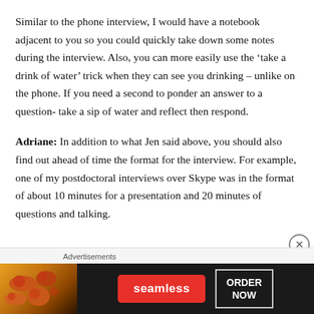Similar to the phone interview, I would have a notebook adjacent to you so you could quickly take down some notes during the interview. Also, you can more easily use the ‘take a drink of water’ trick when they can see you drinking – unlike on the phone. If you need a second to ponder an answer to a question- take a sip of water and reflect then respond.
Adriane: In addition to what Jen said above, you should also find out ahead of time the format for the interview. For example, one of my postdoctoral interviews over Skype was in the format of about 10 minutes for a presentation and 20 minutes of questions and talking.
[Figure (other): Seamless food delivery advertisement banner showing pizza image on left, Seamless logo in red button in center, and ORDER NOW button on right, on dark background. Labeled 'Advertisements' above.]